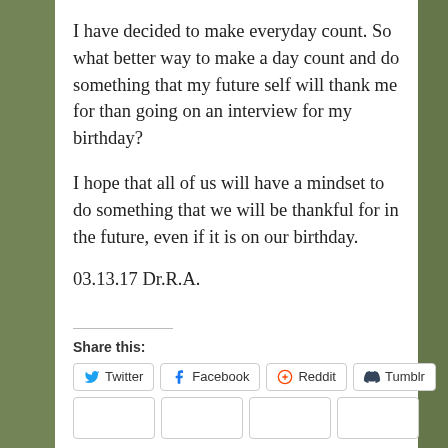I have decided to make everyday count. So what better way to make a day count and do something that my future self will thank me for than going on an interview for my birthday?
I hope that all of us will have a mindset to do something that we will be thankful for in the future, even if it is on our birthday.
03.13.17 Dr.R.A.
Share this:
Twitter | Facebook | Reddit | Tumblr